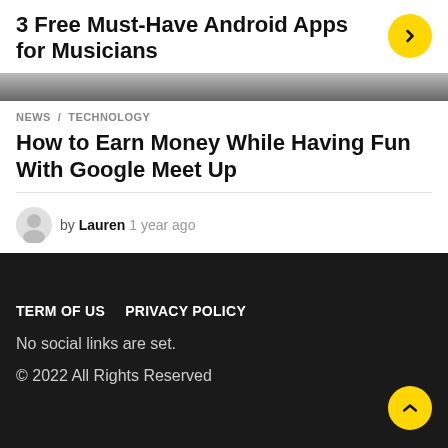3 Free Must-Have Android Apps for Musicians
[Figure (photo): Partial image strip at top of page, appears to be a photo of hands or a musician]
NEWS / TECHNOLOGY
How to Earn Money While Having Fun With Google Meet Up
by Lauren 1 year ago
[Figure (photo): Dark background section transitioning from a blurred image to a dark footer area]
TERM OF US   PRIVACY POLICY
No social links are set.
© 2022 All Rights Reserved